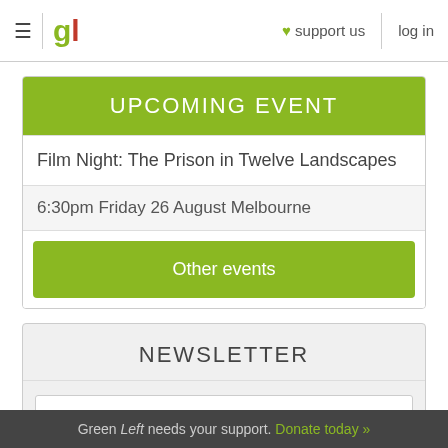≡ | gl ♥ support us log in
UPCOMING EVENT
Film Night: The Prison in Twelve Landscapes
6:30pm Friday 26 August Melbourne
Other events
NEWSLETTER
Your email address
(Optional) Enter your postcode for local activist event updates
Green Left needs your support. Donate today »